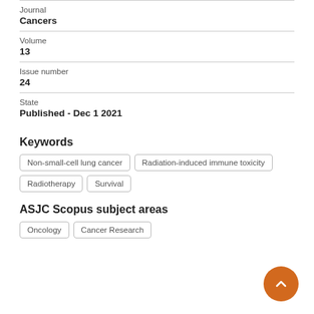Journal
Cancers
Volume
13
Issue number
24
State
Published - Dec 1 2021
Keywords
Non-small-cell lung cancer
Radiation-induced immune toxicity
Radiotherapy
Survival
ASJC Scopus subject areas
Oncology
Cancer Research